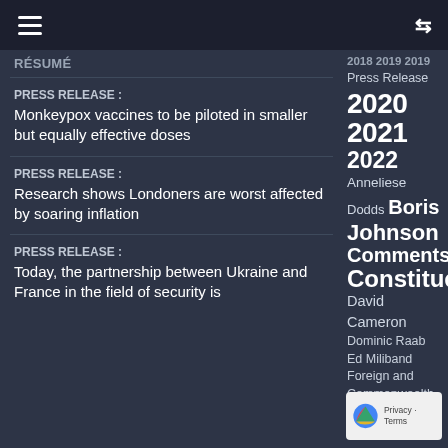≡  ⇌
Résumé
PRESS RELEASE : Monkeypox vaccines to be piloted in smaller but equally effective doses
PRESS RELEASE : Research shows Londoners are worst affected by soaring inflation
PRESS RELEASE : Today, the partnership between Ukraine and France in the field of security is
2018 2019 2019 Press Release 2020 2021 2022 Anneliese Dodds Boris Johnson Comments Constituency David Cameron Dominic Raab Ed Miliband Foreign and Commonwealth Office Press Release Grant Shapps Jeremy Corbyn Jonathan Ashworth Keir Starmer Liz Truss Maiden Speech Matt Hancock Michael Gove Nick